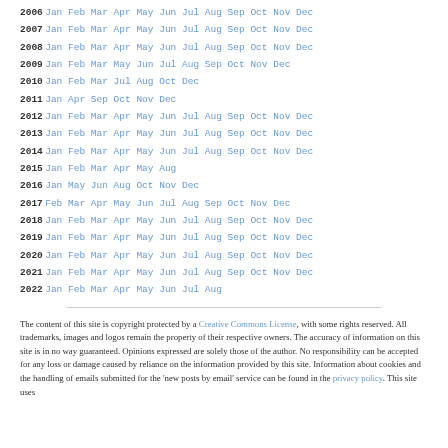2006 Jan Feb Mar Apr May Jun Jul Aug Sep Oct Nov Dec
2007 Jan Feb Mar Apr May Jun Jul Aug Sep Oct Nov Dec
2008 Jan Feb Mar Apr May Jun Jul Aug Sep Oct Nov Dec
2009 Jan Feb Mar May Jun Jul Aug Sep Oct Nov Dec
2010 Jan Feb Mar Jul Aug Oct Dec
2011 Jan Apr Sep Oct Nov Dec
2012 Jan Feb Mar Apr May Jun Jul Aug Sep Oct Nov Dec
2013 Jan Feb Mar Apr May Jun Jul Aug Sep Oct Nov Dec
2014 Jan Feb Mar Apr May Jun Jul Aug Sep Oct Nov Dec
2015 Jan Feb Mar Apr May Aug
2016 Jan May Jun Aug Oct Nov Dec
2017 Feb Mar Apr May Jun Jul Aug Sep Oct Nov Dec
2018 Jan Feb Mar Apr May Jun Jul Aug Sep Oct Nov Dec
2019 Jan Feb Mar Apr May Jun Jul Aug Sep Oct Nov Dec
2020 Jan Feb Mar Apr May Jun Jul Aug Sep Oct Nov Dec
2021 Jan Feb Mar Apr May Jun Jul Aug Sep Oct Nov Dec
2022 Jan Feb Mar Apr May Jun Jul Aug
The content of this site is copyright protected by a Creative Commons License, with some rights reserved. All trademarks, images and logos remain the property of their respective owners. The accuracy of information on this site is in no way guaranteed. Opinions expressed are solely those of the author. No responsibility can be accepted for any loss or damage caused by reliance on the information provided by this site. Information about cookies and the handling of emails submitted for the 'new posts by email' service can be found in the privacy policy. This site uses